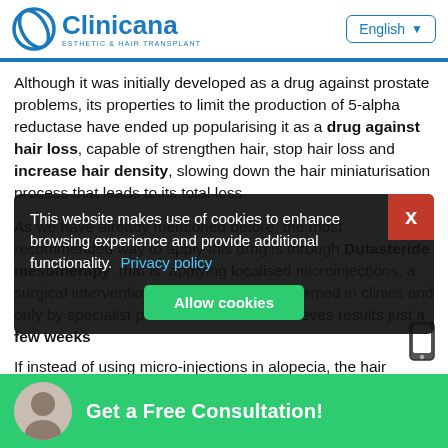Clinicana — Esthetic & Hair Transplant | English
Although it was initially developed as a drug against prostate problems, its properties to limit the production of 5-alpha reductase have ended up popularising it as a drug against hair loss, capable of strengthen hair, stop hair loss and increase hair density, slowing down the hair miniaturisation process that leads to its total loss.
As we have already mentioned before, the most recommended way to apply this drug is through Dutasteride mesotherapy: that is, applying localised microinjections, a surgical intervention that can only be performed in clinics and only by specialist personnel, and that achieves results just a few weeks
If instead of using micro-injections in alopecia, the hair specialist decides to prescribe oral Dutasteride usual thing is to take it in the form of pills or tablets, us in doses of 0.5 mg capsules
[Figure (screenshot): Cookie consent popup overlay with dark background, close X button in red, text about cookies, Privacy policy link in blue, and green Allow cookies button]
Get a Free Consultation!